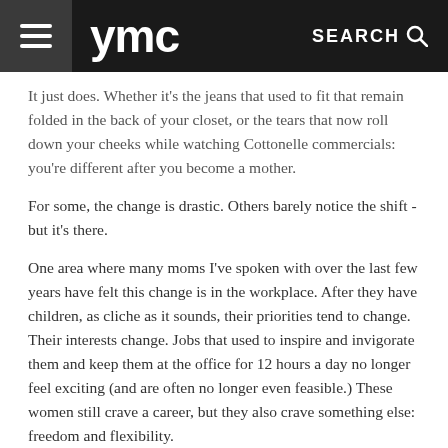ymc | SEARCH
It just does. Whether it's the jeans that used to fit that remain folded in the back of your closet, or the tears that now roll down your cheeks while watching Cottonelle commercials: you're different after you become a mother.
For some, the change is drastic. Others barely notice the shift - but it's there.
One area where many moms I've spoken with over the last few years have felt this change is in the workplace. After they have children, as cliche as it sounds, their priorities tend to change. Their interests change. Jobs that used to inspire and invigorate them and keep them at the office for 12 hours a day no longer feel exciting (and are often no longer even feasible.) These women still crave a career, but they also crave something else: freedom and flexibility.
They want to find a way to still feel fulfilled, still make money, and still see their children.